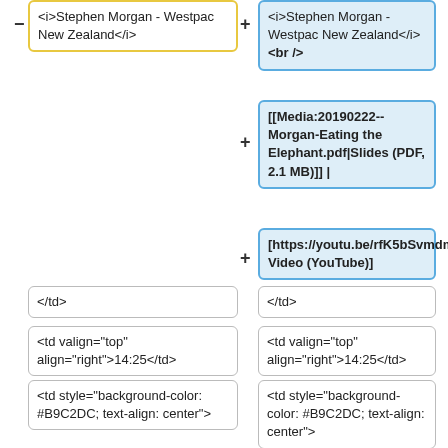<i>Stephen Morgan - Westpac New Zealand</i>
<i>Stephen Morgan - Westpac New Zealand</i><br />
[[Media:20190222--Morgan-Eating the Elephant.pdf|Slides (PDF, 2.1 MB)]] |
[https://youtu.be/rfK5bSvmdmw Video (YouTube)]
</td>
</td>
<td valign="top" align="right">14:25</td>
<td valign="top" align="right">14:25</td>
<td style="background-color: #B9C2DC; text-align: center">
<td style="background-color: #B9C2DC; text-align: center">
<b>CI Can Make $$$ from Thin Air</b><br />
<b>CI Can Make $$$ from Thin Air</b><br />
<i>Sajeeb Lohani - Privasec</i>
<i>Sajeeb Lohani - Privasec</i><br />